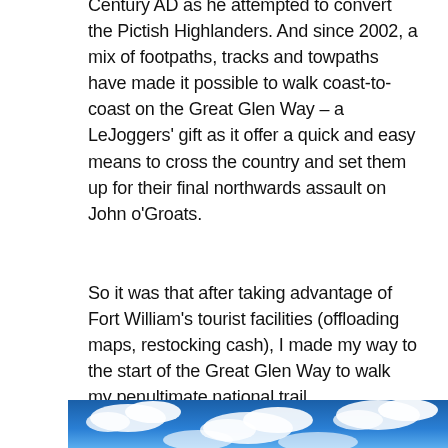Century AD as he attempted to convert the Pictish Highlanders. And since 2002, a mix of footpaths, tracks and towpaths have made it possible to walk coast-to-coast on the Great Glen Way – a LeJoggers' gift as it offer a quick and easy means to cross the country and set them up for their final northwards assault on John o'Groats.
So it was that after taking advantage of Fort William's tourist facilities (offloading maps, restocking cash), I made my way to the start of the Great Glen Way to walk my penultimate national trail.
[Figure (photo): Blue sky with white clouds, partial view at bottom of page]